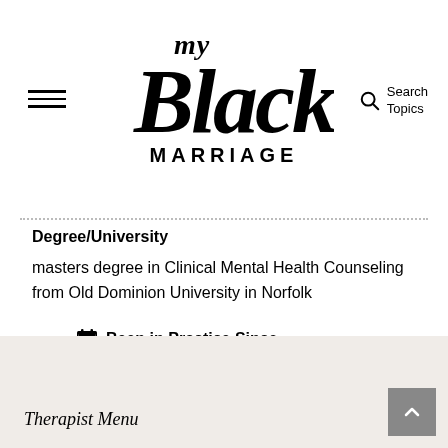my Black Marriage — Search Topics
Degree/University
masters degree in Clinical Mental Health Counseling from Old Dominion University in Norfolk
Been in Practice Since
February 1, 2017
Therapist Menu